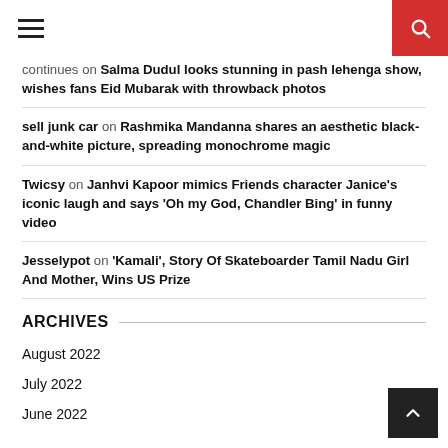Navigation header with hamburger menu and search button
continues on Salma Dudul looks stunning in pash lehenga show, wishes fans Eid Mubarak with throwback photos
sell junk car on Rashmika Mandanna shares an aesthetic black-and-white picture, spreading monochrome magic
Twicsy on Janhvi Kapoor mimics Friends character Janice's iconic laugh and says 'Oh my God, Chandler Bing' in funny video
Jesselypot on 'Kamali', Story Of Skateboarder Tamil Nadu Girl And Mother, Wins US Prize
ARCHIVES
August 2022
July 2022
June 2022